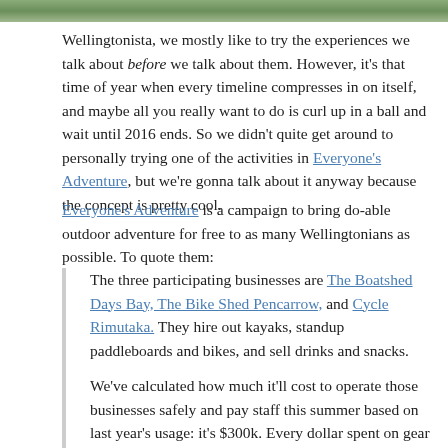[Figure (photo): Partial view of a nature/outdoor photo strip at the top of the page, showing greenery and a path.]
Wellingtonista, we mostly like to try the experiences we talk about before we talk about them. However, it's that time of year when every timeline compresses in on itself, and maybe all you really want to do is curl up in a ball and wait until 2016 ends. So we didn't quite get around to personally trying one of the activities in Everyone's Adventure, but we're gonna talk about it anyway because the concept is pretty cool.
Everyone's Adventure is a campaign to bring do-able outdoor adventure for free to as many Wellingtonians as possible. To quote them:
The three participating businesses are The Boatshed Days Bay, The Bike Shed Pencarrow, and Cycle Rimutaka. They hire out kayaks, standup paddleboards and bikes, and sell drinks and snacks.

We've calculated how much it'll cost to operate those businesses safely and pay staff this summer based on last year's usage: it's $300k. Every dollar spent on gear hire, or snacks and drinks at the businesses goes towards that $300k